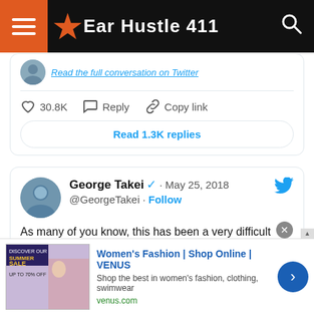Ear Hustle 411
[Figure (screenshot): Partial Twitter tweet showing 'Read the full conversation on Twitter' link, 30.8K likes, Reply, Copy link actions, and 'Read 1.3K replies' button]
[Figure (screenshot): George Takei verified Twitter post from May 25, 2018: 'As many of you know, this has been a very difficult period for myself and my husband Brad as we have dealt with the impact of these accusations, but we are happy to see that this nightmare is finally drawing to a close.']
[Figure (screenshot): Advertisement: Women's Fashion | Shop Online | VENUS. Shop the best in women's fashion, clothing, swimwear. venus.com]